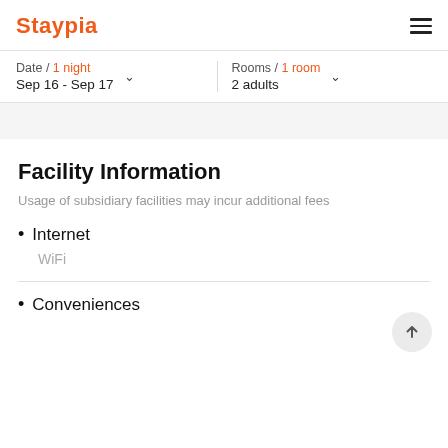Staypia
Date / 1 night
Sep 16 - Sep 17
Rooms / 1 room
2 adults
Facility Information
Usage of subsidiary facilities may incur additional fees
Internet
WiFi
Conveniences